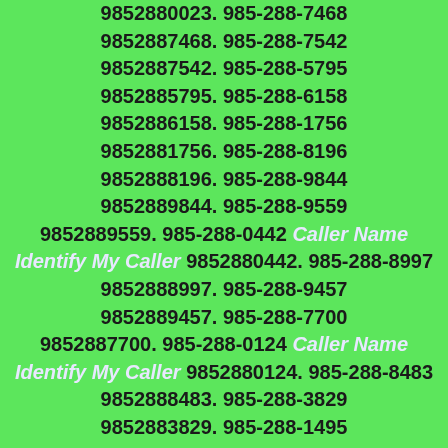9852880023. 985-288-7468 9852887468. 985-288-7542 9852887542. 985-288-5795 9852885795. 985-288-6158 9852886158. 985-288-1756 9852881756. 985-288-8196 9852888196. 985-288-9844 9852889844. 985-288-9559 9852889559. 985-288-0442 Caller Name Identify My Caller 9852880442. 985-288-8997 9852888997. 985-288-9457 9852889457. 985-288-7700 9852887700. 985-288-0124 Caller Name Identify My Caller 9852880124. 985-288-8483 9852888483. 985-288-3829 9852883829. 985-288-1495 9852881495. 985-288-2544 9852882544. 985-288-2313 9852882313. 985-288-6107 9852886107. 985-288-4223 9852884223. 985-288-6284 9852886284. 985-288-1298 9852881298. 985-288-1626 9852881626. 985-288-5441 9852885441. 985-288-0962 Caller Name Identify My Caller 9852880962. 985-